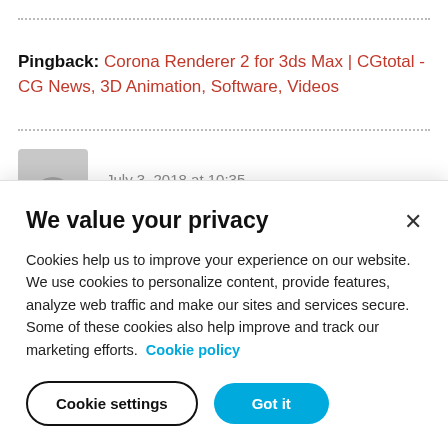Pingback: Corona Renderer 2 for 3ds Max | CGtotal - CG News, 3D Animation, Software, Videos
July 3, 2018 at 10:35
We value your privacy
Cookies help us to improve your experience on our website. We use cookies to personalize content, provide features, analyze web traffic and make our sites and services secure. Some of these cookies also help improve and track our marketing efforts. Cookie policy
Cookie settings
Got it